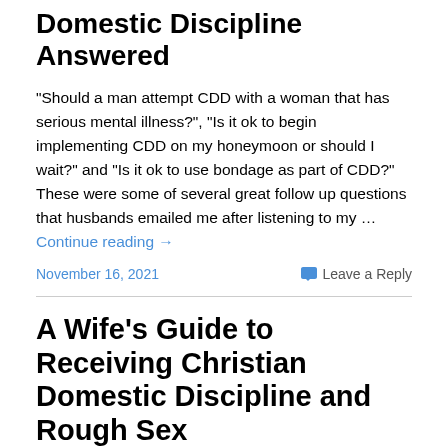Domestic Discipline Answered
"Should a man attempt CDD with a woman that has serious mental illness?", "Is it ok to begin implementing CDD on my honeymoon or should I wait?" and "Is it ok to use bondage as part of CDD?" These were some of several great follow up questions that husbands emailed me after listening to my … Continue reading →
November 16, 2021   Leave a Reply
A Wife's Guide to Receiving Christian Domestic Discipline and Rough Sex
Why should a Christian wife be receptive to Christian